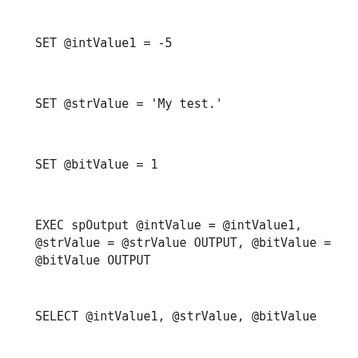SET @intValue1 = -5
SET @strValue = 'My test.'
SET @bitValue = 1
EXEC spOutput @intValue = @intValue1,
@strValue = @strValue OUTPUT, @bitValue =
@bitValue OUTPUT
SELECT @intValue1, @strValue, @bitValue